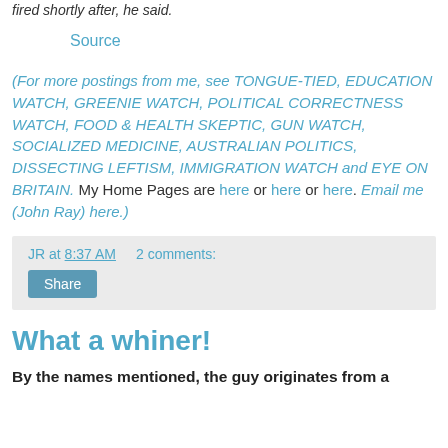fired shortly after, he said.
Source
(For more postings from me, see TONGUE-TIED, EDUCATION WATCH, GREENIE WATCH, POLITICAL CORRECTNESS WATCH, FOOD & HEALTH SKEPTIC, GUN WATCH, SOCIALIZED MEDICINE, AUSTRALIAN POLITICS, DISSECTING LEFTISM, IMMIGRATION WATCH and EYE ON BRITAIN. My Home Pages are here or here or here. Email me (John Ray) here.)
JR at 8:37 AM    2 comments:
Share
What a whiner!
By the names mentioned, the guy originates from a